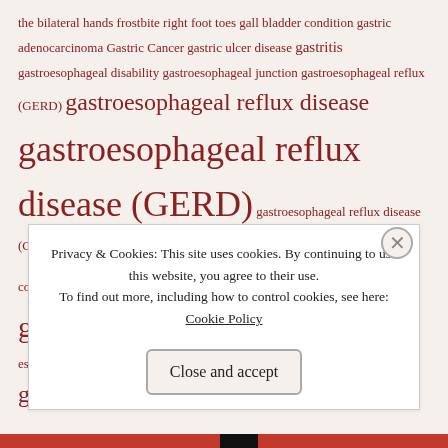the bilateral hands frostbite right foot toes gall bladder condition gastric adenocarcinoma Gastric Cancer gastric ulcer disease gastritis gastroesophageal disability gastroesophageal junction gastroesophageal reflux (GERD) gastroesophageal reflux disease gastroesophageal reflux disease (GERD) gastroesophageal reflux disease (GERD) with hiatal hernia Gastrointestinal (GI) disability gastrointestinal condition gastrointestinal disability gastrointestinal disorder gastrointestinal esophageal reflux disease (GERD) GEJ generalized anxiety disorde generalized anxiety disorder generalized
Privacy & Cookies: This site uses cookies. By continuing to use this website, you agree to their use.
To find out more, including how to control cookies, see here:
Cookie Policy
Close and accept